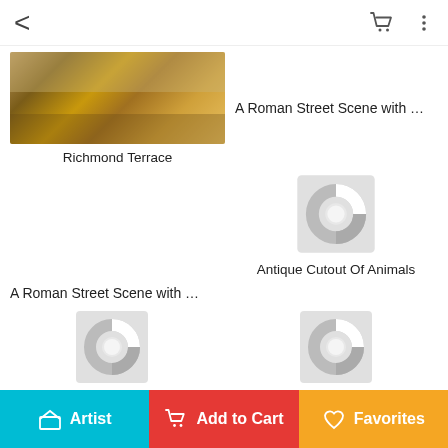< [back] [cart] [menu]
[Figure (screenshot): App screenshot showing an art print shopping interface with grid of artwork thumbnails. Top row shows painting 'Richmond Terrace' and text 'A Roman Street Scene with …'. Below are loading spinner placeholders for: Antique Cutout Of Animals, A Roman Street Scene with …, Girl Skipping, Winter Fun, Advertisement For Chocolat …, German Political Poster Sho…]
Artist | Add to Cart | Favorites